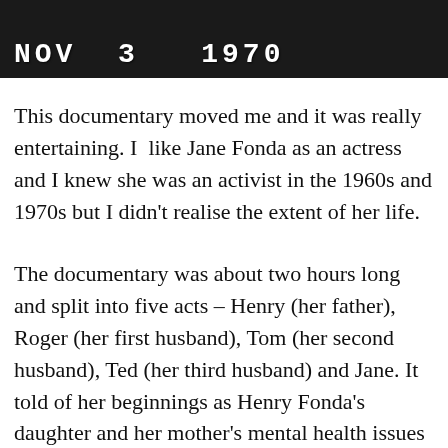[Figure (photo): Black and white photograph showing partial text overlay with date NOV 3 1970 in white block letters on dark background]
This documentary moved me and it was really entertaining. I  like Jane Fonda as an actress and I knew she was an activist in the 1960s and 1970s but I didn't realise the extent of her life.
The documentary was about two hours long and split into five acts – Henry (her father), Roger (her first husband), Tom (her second husband), Ted (her third husband) and Jane. It told of her beginnings as Henry Fonda's daughter and her mother's mental health issues through her three husbands, notable film roles such as Barbarella (1968), Klute (1971), On Golden Pond (1981), her activism